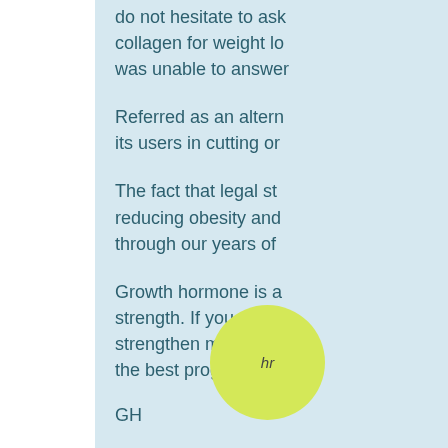do not hesitate to ask collagen for weight lo was unable to answer
Referred as an altern its users in cutting or
The fact that legal st reducing obesity and through our years of
Growth hormone is a strength. If you are lo strengthen muscles t the best program at t
GH
GH (grow hormone the pituitary gland fo to grow an even stro